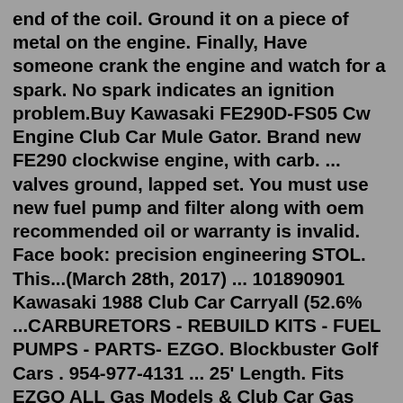end of the coil. Ground it on a piece of metal on the engine. Finally, Have someone crank the engine and watch for a spark. No spark indicates an ignition problem.Buy Kawasaki FE290D-FS05 Cw Engine Club Car Mule Gator. Brand new FE290 clockwise engine, with carb. ... valves ground, lapped set. You must use new fuel pump and filter along with oem recommended oil or warranty is invalid. Face book: precision engineering STOL. This...(March 28th, 2017) ... 101890901 Kawasaki 1988 Club Car Carryall (52.6% ...CARBURETORS - REBUILD KITS - FUEL PUMPS - PARTS- EZGO. Blockbuster Golf Cars . 954-977-4131 ... 25' Length. Fits EZGO ALL Gas Models & Club Car Gas Models 1984 to 1991. PART # FP-203-320 ... EZGO Aftermarket Carburetor Assembly. Fits Gas Model with 2 Cycle Engine 1988 ONLY. PART # CARB-015A Carburetor Assembly E-Z-GO Gas Model with 2PG / 2 ...Step 8 - Install new fuel pump assembly. Now that the old unit is out, you will drop the new unit down into the fuel tank, sliding it to the words your way with